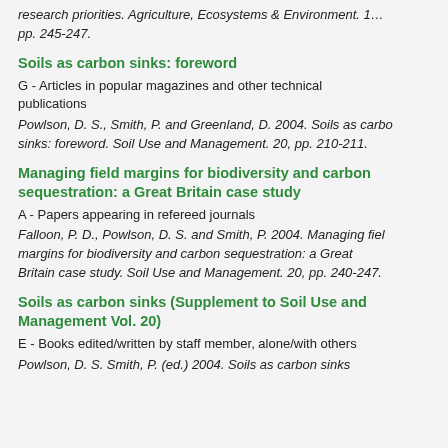research priorities. Agriculture, Ecosystems & Environment. 1… pp. 245-247.
Soils as carbon sinks: foreword
G - Articles in popular magazines and other technical publications
Powlson, D. S., Smith, P. and Greenland, D. 2004. Soils as carbon sinks: foreword. Soil Use and Management. 20, pp. 210-211.
Managing field margins for biodiversity and carbon sequestration: a Great Britain case study
A - Papers appearing in refereed journals
Falloon, P. D., Powlson, D. S. and Smith, P. 2004. Managing field margins for biodiversity and carbon sequestration: a Great Britain case study. Soil Use and Management. 20, pp. 240-247.
Soils as carbon sinks (Supplement to Soil Use and Management Vol. 20)
E - Books edited/written by staff member, alone/with others
Powlson, D. S. Smith, P. (ed.) 2004. Soils as carbon sinks